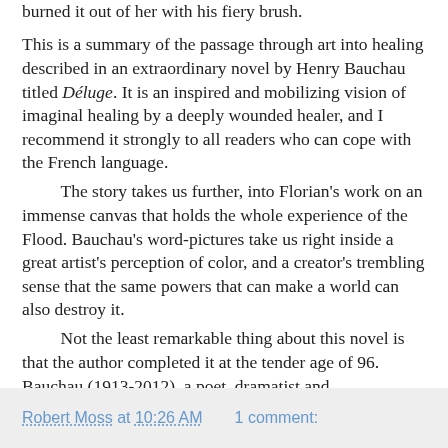burned it out of her with his fiery brush.
This is a summary of the passage through art into healing described in an extraordinary novel by Henry Bauchau titled Déluge. It is an inspired and mobilizing vision of imaginal healing by a deeply wounded healer, and I recommend it strongly to all readers who can cope with the French language.
    The story takes us further, into Florian's work on an immense canvas that holds the whole experience of the Flood. Bauchau's word-pictures take us right inside a great artist's perception of color, and a creator's trembling sense that the same powers that can make a world can also destroy it.
    Not the least remarkable thing about this novel is that the author completed it at the tender age of 96. Bauchau (1913-2012), a poet, dramatist and psychoanalyst, was born in Belgium in 1913; he was a friend of Albert Camus and fought with the French Resistance and the Ardennes during World War II.
Déluge by Henry Bauchau is published by Actes Sud, 2010. The translations are my own.
Robert Moss at 10:26 AM    1 comment: